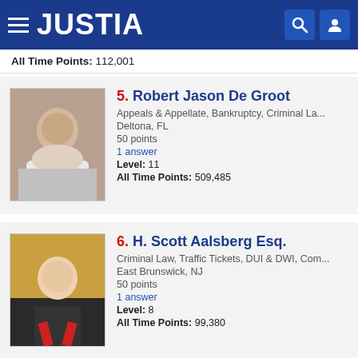JUSTIA
All Time Points: 112,001
5. Robert Jason De Groot
Appeals & Appellate, Bankruptcy, Criminal La...
Deltona, FL
50 points
1 answer
Level: 11
All Time Points: 509,485
6. H. Scott Aalsberg Esq.
Criminal Law, Traffic Tickets, DUI & DWI, Com...
East Brunswick, NJ
50 points
1 answer
Level: 8
All Time Points: 99,380